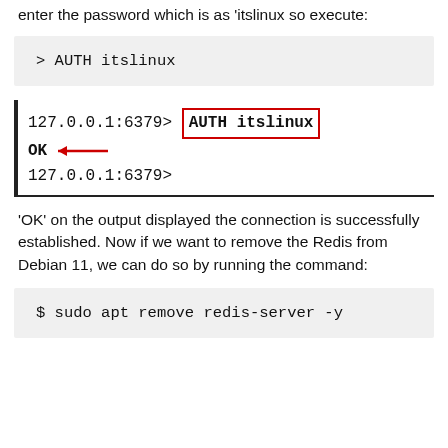enter the password which is as 'itslinux so execute:
> AUTH itslinux
[Figure (screenshot): Terminal screenshot showing: 127.0.0.1:6379> AUTH itslinux (highlighted in red box), OK (with red arrow pointing left), 127.0.0.1:6379>]
'OK' on the output displayed the connection is successfully established. Now if we want to remove the Redis from Debian 11, we can do so by running the command:
$ sudo apt remove redis-server -y